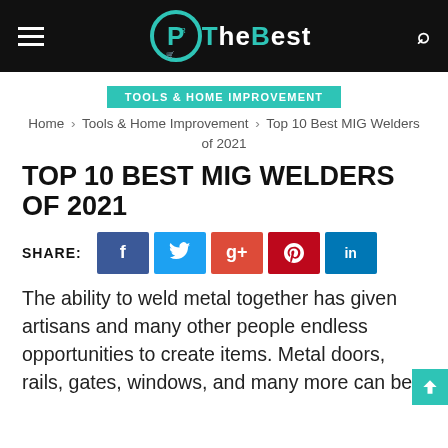TheBest — navigation header with logo, hamburger menu, and search icon
TOOLS & HOME IMPROVEMENT
Home › Tools & Home Improvement › Top 10 Best MIG Welders of 2021
TOP 10 BEST MIG WELDERS OF 2021
SHARE: [Facebook] [Twitter] [Google+] [Pinterest] [LinkedIn]
The ability to weld metal together has given artisans and many other people endless opportunities to create items. Metal doors, rails, gates, windows, and many more can be